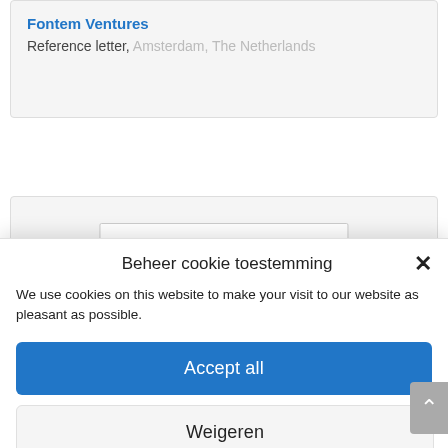Fontem Ventures
Reference letter, Amsterdam, The Netherlands
[Figure (screenshot): Partial card with a lighter inner box visible at the bottom]
Beheer cookie toestemming
We use cookies on this website to make your visit to our website as pleasant as possible.
Accept all
Weigeren